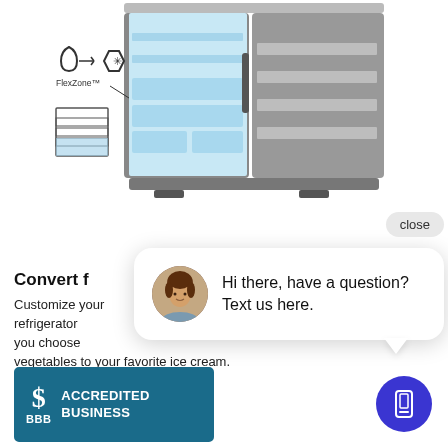[Figure (photo): Samsung French door refrigerator with FlexZone compartment open showing interior shelves and drawers, with annotation labels pointing to FlexZone feature including water-to-ice conversion icons and a small diagram of compartment layout.]
Convert f
Customize your refrigerator... you choose vegetables to your favorite ice cream.
[Figure (logo): BBB Accredited Business badge with teal background, BBB dollar-sign logo on left and text ACCREDITED BUSINESS on right.]
[Figure (screenshot): Live chat popup overlay with close button, showing a woman's avatar photo and text: Hi there, have a question? Text us here.]
[Figure (other): Blue circle button with white phone/mobile device icon for initiating text chat.]